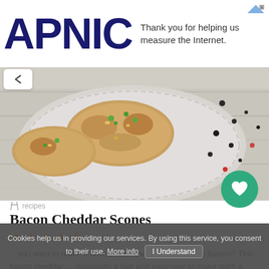[Figure (logo): APNIC logo in dark navy blue large bold text]
Thank you for helping us measure the Internet.
[Figure (photo): Close-up photo of bacon cheddar scones on a decorative plate, garnished with green onions, with scattered peppercorns on a white wood surface]
recipes
Bacon Cheddar Scones
★★★★★
…you want to make a brunch dish that is full of savory flavors? This bacon cheddar … discusses a fast and easy way to make such a dish that is overwhelmingly
Cookies help us in providing our services. By using this service, you consent to their use. More info  I Understand